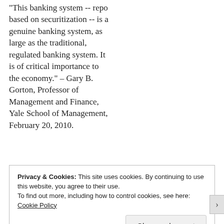"This banking system -- repo based on securitization -- is a genuine banking system, as large as the traditional, regulated banking system. It is of critical importance to the economy." – Gary B. Gorton, Professor of Management and Finance, Yale School of Management, February 20, 2010.
Privacy & Cookies: This site uses cookies. By continuing to use this website, you agree to their use. To find out more, including how to control cookies, see here: Cookie Policy
Close and accept